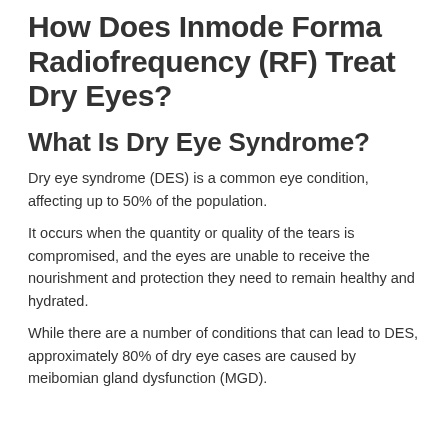How Does Inmode Forma Radiofrequency (RF) Treat Dry Eyes?
What Is Dry Eye Syndrome?
Dry eye syndrome (DES) is a common eye condition, affecting up to 50% of the population.
It occurs when the quantity or quality of the tears is compromised, and the eyes are unable to receive the nourishment and protection they need to remain healthy and hydrated.
While there are a number of conditions that can lead to DES, approximately 80% of dry eye cases are caused by meibomian gland dysfunction (MGD).